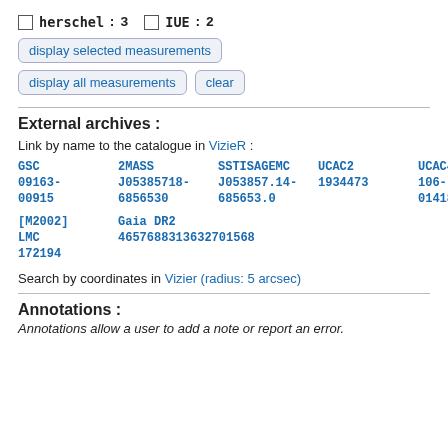herschel : 3   IUE : 2
display selected measurements
display all measurements   clear
External archives :
Link by name to the catalogue in VizieR :
GSC 09163-00915   2MASS J05385718-6856530   SSTISAGEMC J053857.14-685653.0   UCAC2 1934473   UCAC4 106-014183   [M2002] LMC 172194   Gaia DR2 4657688313632701568
Search by coordinates in Vizier (radius: 5 arcsec)
Annotations :
Annotations allow a user to add a note or report an error.